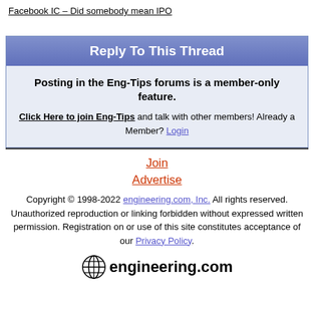Facebook IC – Did somebody mean IPO
Reply To This Thread
Posting in the Eng-Tips forums is a member-only feature.
Click Here to join Eng-Tips and talk with other members! Already a Member? Login
Join
Advertise
Copyright © 1998-2022 engineering.com, Inc. All rights reserved. Unauthorized reproduction or linking forbidden without expressed written permission. Registration on or use of this site constitutes acceptance of our Privacy Policy.
[Figure (logo): engineering.com logo with globe icon]